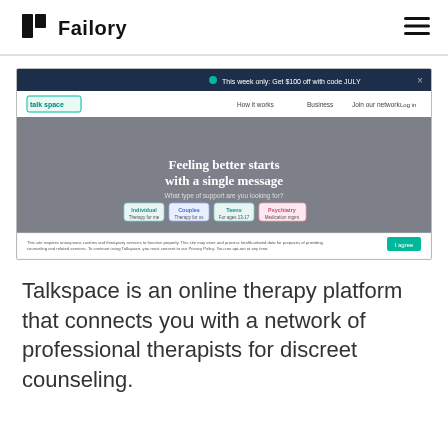Failory
[Figure (screenshot): Screenshot of the Talkspace website homepage showing the hero section with a woman looking at a phone, text 'Feeling better starts with a single message', therapy category options (Individual, Couples, Teens, Psychiatry), and a cookie consent banner at the bottom.]
Talkspace is an online therapy platform that connects you with a network of professional therapists for discreet counseling.